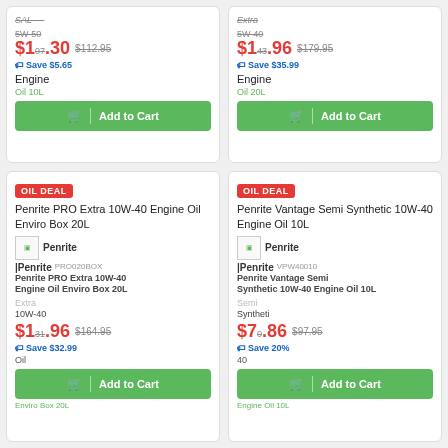SALE (top-left card, top)
5W-50 | $107.30 was $112.95 Save $5.65 | Engine Oil 10L | Add to Cart
Extra (top-right card label)
5W-40 | $143.96 was $179.95 Save $35.99 | Engine Oil 20L | Add to Cart
OIL DEAL | Penrite PRO Extra 10W-40 Engine Oil Enviro Box 20L | Penrite | PRO020BOX | Penrite PRO Extra 10W-40 Engine Oil Enviro Box 20L | 10W-40 | $131.96 was $164.95 Save $32.99 | Oil Enviro Box 20L | Add to Cart
OIL DEAL | Penrite Vantage Semi Synthetic 10W-40 Engine Oil 10L | Penrite | VPW40010 | Penrite Vantage Semi Synthetic 10W-40 Engine Oil 10L | 10W-40 | $70.86 was $97.95 Save 20% | Engine Oil 10L | Add to Cart